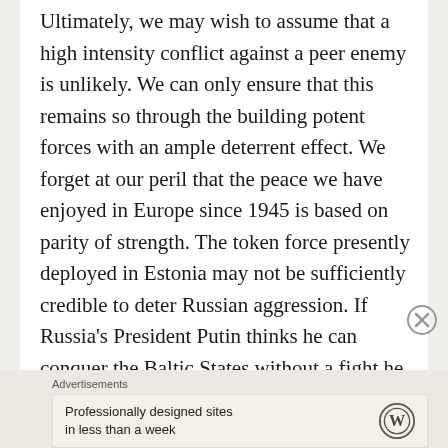Ultimately, we may wish to assume that a high intensity conflict against a peer enemy is unlikely. We can only ensure that this remains so through the building potent forces with an ample deterrent effect. We forget at our peril that the peace we have enjoyed in Europe since 1945 is based on parity of strength. The token force presently deployed in Estonia may not be sufficiently credible to deter Russian aggression. If Russia's President Putin thinks he can conquer the Baltic States without a fight he may well try his luck. Though we possess nuclear weapons, if Russian forces had already seized territory in Latvia, Estonia, and Lithuania, using nuclear...
Advertisements
[Figure (other): WordPress advertisement banner showing 'Professionally designed sites in less than a week' with WordPress logo]